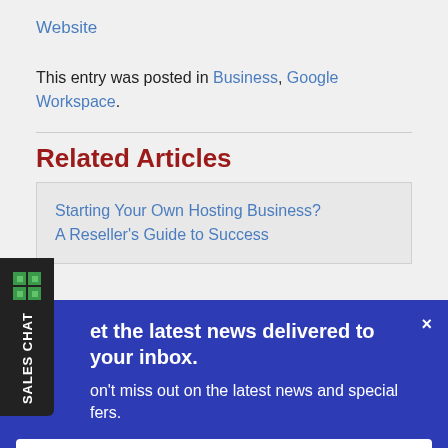Website
This entry was posted in Business, Google Workspace.
Related Articles
Starting Your Own Hosting Business? A Reseller's Guide to Success
SALES CHAT
et the latest news delivered to your inbox.
on't miss out on the latest news and special fers.
Subscribe Now